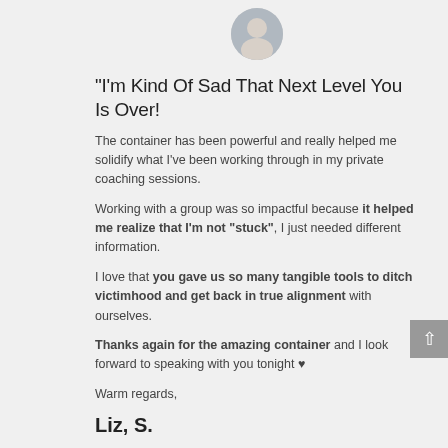[Figure (photo): Circular profile photo of a person, cropped at top of page]
“I’m Kind Of Sad That Next Level You Is Over!
The container has been powerful and really helped me solidify what I’ve been working through in my private coaching sessions.
Working with a group was so impactful because it helped me realize that I’m not “stuck”, I just needed different information.
I love that you gave us so many tangible tools to ditch victimhood and get back in true alignment with ourselves.
Thanks again for the amazing container and I look forward to speaking with you tonight ♥
Warm regards,
Liz, S.